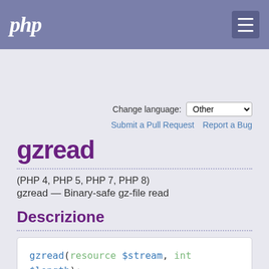php
Search
Change language: Other
Submit a Pull Request   Report a Bug
gzread
(PHP 4, PHP 5, PHP 7, PHP 8)
gzread — Binary-safe gz-file read
Descrizione
gzread(resource $stream, int $length): string|false